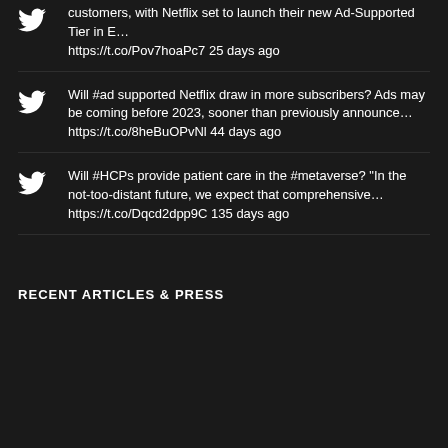Advertisers will have a new channel to reach customers, with Netflix set to launch their new Ad-Supported Tier in E… https://t.co/Pov7hoaPc7 25 days ago
Will #ad supported Netflix draw in more subscribers? Ads may be coming before 2023, sooner than previously announce… https://t.co/8heBuOPvNl 44 days ago
Will #HCPs provide patient care in the #metaverse? "In the not-too-distant future, we expect that comprehensive… https://t.co/Dqcd2dpp9C 135 days ago
RECENT ARTICLES & PRESS